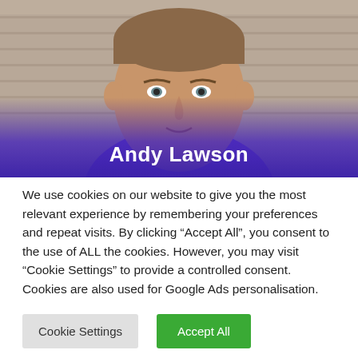[Figure (photo): Headshot photo of Andy Lawson, a man with short hair, against a brick wall background. A purple gradient overlay covers the lower portion with the name 'Andy Lawson' displayed in white bold text.]
We use cookies on our website to give you the most relevant experience by remembering your preferences and repeat visits. By clicking “Accept All”, you consent to the use of ALL the cookies. However, you may visit “Cookie Settings” to provide a controlled consent. Cookies are also used for Google Ads personalisation.
Cookie Settings
Accept All